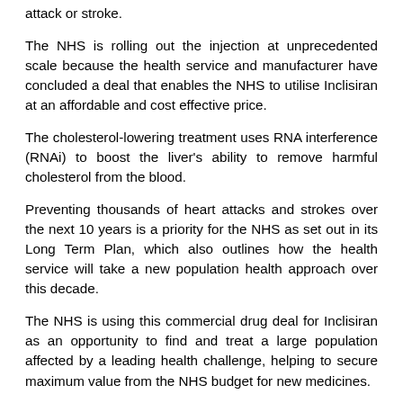attack or stroke.
The NHS is rolling out the injection at unprecedented scale because the health service and manufacturer have concluded a deal that enables the NHS to utilise Inclisiran at an affordable and cost effective price.
The cholesterol-lowering treatment uses RNA interference (RNAi) to boost the liver's ability to remove harmful cholesterol from the blood.
Preventing thousands of heart attacks and strokes over the next 10 years is a priority for the NHS as set out in its Long Term Plan, which also outlines how the health service will take a new population health approach over this decade.
The NHS is using this commercial drug deal for Inclisiran as an opportunity to find and treat a large population affected by a leading health challenge, helping to secure maximum value from the NHS budget for new medicines.
Health and Social Care Secretary Sajid Javid said: “This ground-breaking new drug further demonstrates the UK’s excellent track record for identifying the world's most innovative treatments and ensuring NHS patients are able to access them at the earliest opportunity.
“Thanks to this collaboration, this life-saving new treatment will make a difference to hundreds of thousands of people across England, expected to save 30,000 lives and prevent 55,000 heart